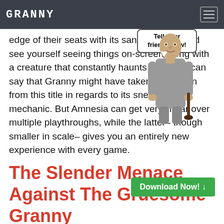GRANNY
[Figure (illustration): Granny character figure holding a bat with a speech bubble saying 'Tell your friends now!']
edge of their seats with its sanity insanity and see yourself seeing things on-screen along with a creature that constantly haunts you. One can say that Granny might have taken inspiration from this title in regards to its sneaking mechanic. But Amnesia can get very linear over multiple playthroughs, while the latter– though smaller in scale– gives you an entirely new experience with every game.
The Slender Menace Against The Gruesome Granny
[Figure (other): Download Now button in green]